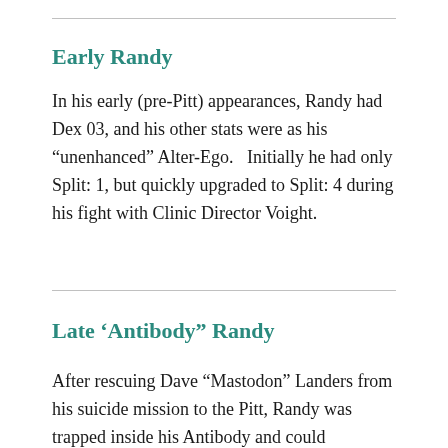Early Randy
In his early (pre-Pitt) appearances, Randy had Dex 03, and his other stats were as his “unenhanced” Alter-Ego.    Initially he had only Split: 1, but quickly upgraded to Split: 4 during his fight with Clinic Director Voight.
Late ‘Antibody” Randy
After rescuing Dave “Mastodon” Landers from his suicide mission to the Pitt, Randy was trapped inside his Antibody and could